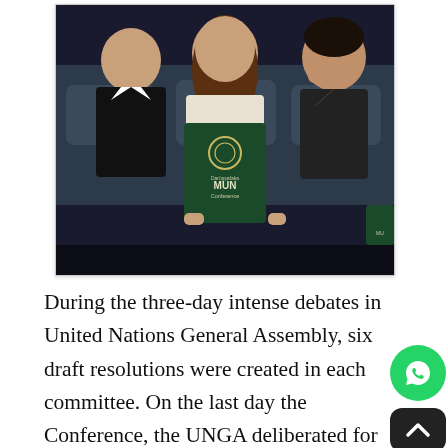[Figure (photo): Three people seated in an auditorium. A young woman in the center holds up a dark green folder labeled 'Darüşşafaka MUN Conference' with a UN-style emblem. A boy in a suit sits to her left, and a man in a suit sits to her right.]
During the three-day intense debates in United Nations General Assembly, six draft resolutions were created in each committee. On the last day the Conference, the UNGA deliberated for four hours on one resolution from each of the committees, which were then voted on by 150